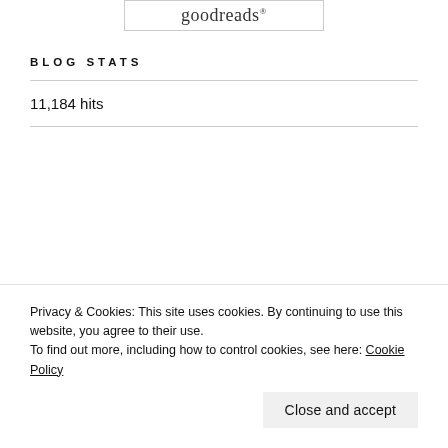[Figure (logo): Goodreads logo inside a rounded rectangle border]
BLOG STATS
11,184 hits
Privacy & Cookies: This site uses cookies. By continuing to use this website, you agree to their use.
To find out more, including how to control cookies, see here: Cookie Policy
Close and accept